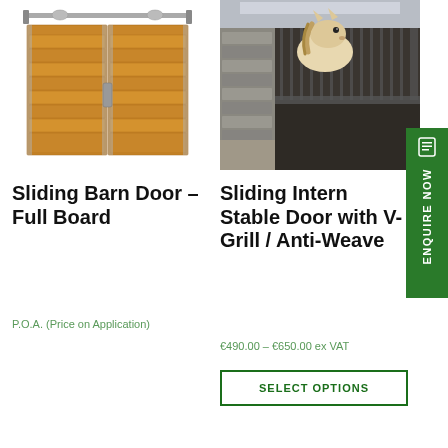[Figure (photo): Sliding barn door with wooden panels mounted on a metal track rail]
Sliding Barn Door – Full Board
P.O.A. (Price on Application)
[Figure (photo): Horse looking over a sliding internal stable door with V-Grill / Anti-Weave in a stone stable]
Sliding Internal Stable Door with V-Grill / Anti-Weave
€490.00 – €650.00 ex VAT
SELECT OPTIONS